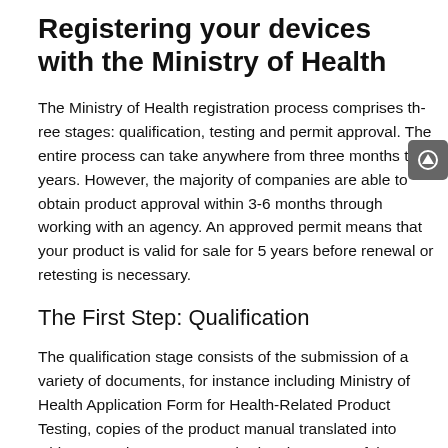Registering your devices with the Ministry of Health
The Ministry of Health registration process comprises three stages: qualification, testing and permit approval. The entire process can take anywhere from three months to 2 years. However, the majority of companies are able to obtain product approval within 3-6 months through working with an agency. An approved permit means that your product is valid for sale for 5 years before renewal or retesting is necessary.
The First Step: Qualification
The qualification stage consists of the submission of a variety of documents, for instance including Ministry of Health Application Form for Health-Related Product Testing, copies of the product manual translated into Chinese, and company standards. The extent of the documentation and probable language barrier contribute towards making qualification the longest part of the registration process.